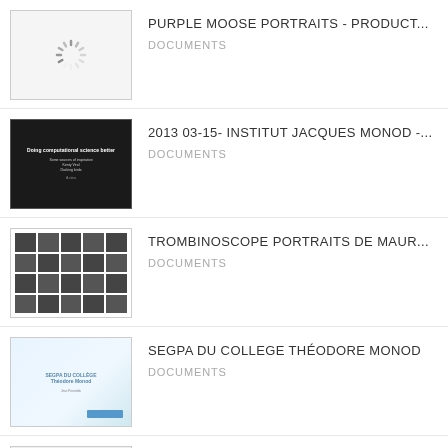[Figure (screenshot): Thumbnail with loading spinner on white background]
PURPLE MOOSE PORTRAITS - PRODUCT...
DOCUMENTS
[Figure (screenshot): Dark presentation slide thumbnail with white text reading 'Doing computational science better']
2013 03-15- INSTITUT JACQUES MONOD -...
DOCUMENTS
[Figure (screenshot): Grid of black and white portrait photos]
TROMBINOSCOPE PORTRAITS DE MAUR...
DOCUMENTS
[Figure (screenshot): SEGPA DU COLLEGE Théodore Monod document cover with blue gradient background]
SEGPA DU COLLEGE THÉODORE MONOD
DOCUMENTS
[Figure (screenshot): Doctrine Chrétienne document cover page thumbnail]
DOCTRINE CHRÉTIENNE, QUATRE DISC...
DOCUMENTS